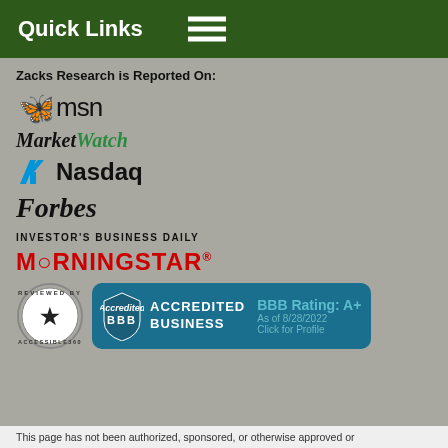Quick Links
Zacks Research is Reported On:
[Figure (logo): MSN logo with butterfly icon and 'msn' text]
[Figure (logo): MarketWatch logo in italic bold, 'Market' in black and 'Watch' in green]
[Figure (logo): Nasdaq logo with blue N icon and 'Nasdaq' text]
[Figure (logo): Forbes logo in bold italic serif font]
[Figure (logo): Investor's Business Daily logo in small caps]
[Figure (logo): Morningstar logo in red bold text]
[Figure (logo): Accessible360 reviewed badge (circular badge) and BBB Accredited Business badge with BBB Rating: A+ As of 8/28/2022 Click for Profile]
This page has not been authorized, sponsored, or otherwise approved or